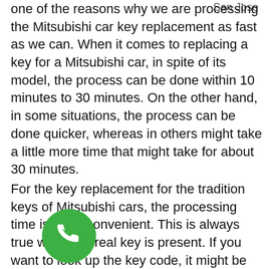San Jose
one of the reasons why we are processing the Mitsubishi car key replacement as fast as we can. When it comes to replacing a key for a Mitsubishi car, in spite of its model, the process can be done within 10 minutes to 30 minutes. On the other hand, in some situations, the process can be done quicker, whereas in others might take a little more time that might take for about 30 minutes.
For the key replacement for the tradition keys of Mitsubishi cars, the processing time is more convenient. This is always true when the real key is present. If you want to look up the key code, it might be done quite long which is for about 10 minutes or more. Aside from that, if you want your Mitsubishi car to undergo an additional process to make the key really
[Figure (illustration): Green circular phone/call button icon]